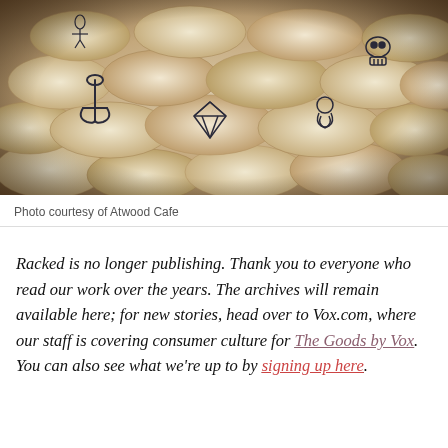[Figure (photo): Close-up photo of marshmallows with various tattoo designs stamped on them, including an anchor, diamond, skull, roses, and other traditional tattoo motifs. The marshmallows are piled together, photographed with a fisheye lens effect.]
Photo courtesy of Atwood Cafe
Racked is no longer publishing. Thank you to everyone who read our work over the years. The archives will remain available here; for new stories, head over to Vox.com, where our staff is covering consumer culture for The Goods by Vox. You can also see what we're up to by signing up here.